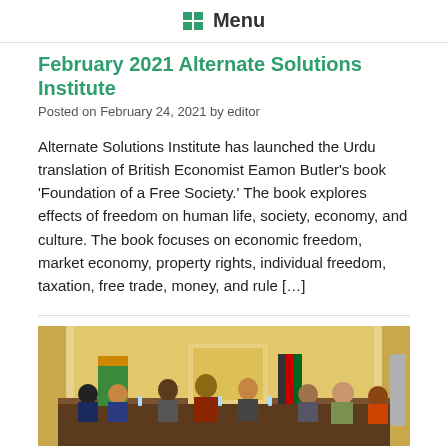☰ Menu
February 2021 Alternate Solutions Institute
Posted on February 24, 2021 by editor
Alternate Solutions Institute has launched the Urdu translation of British Economist Eamon Butler's book 'Foundation of a Free Society.' The book explores effects of freedom on human life, society, economy, and culture. The book focuses on economic freedom, market economy, property rights, individual freedom, taxation, free trade, money, and rule [...]
[Figure (photo): People seated around a large conference table in an ornate meeting room with gold/yellow decor, flags visible in the background, appearing to be a formal panel discussion or seminar event.]